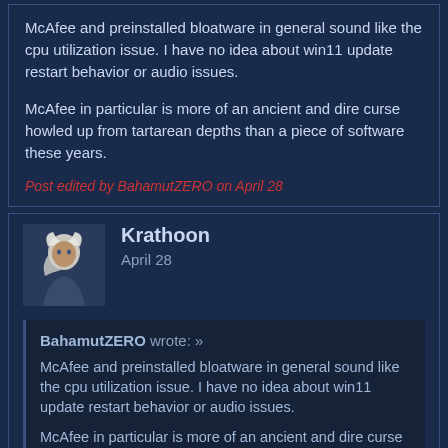McAfee and preinstalled bloatware in general sound like the cpu utilization issue. I have no idea about win11 update restart behavior or audio issues.

McAfee in particular is more of an ancient and dire curse howled up from tartarean depths than a piece of software these years.
Post edited by BahamutZERO on April 28
Krathoon
April 28
BahamutZERO wrote: » McAfee and preinstalled bloatware in general sound like the cpu utilization issue. I have no idea about win11 update restart behavior or audio issues.

McAfee in particular is more of an ancient and dire curse howled up from tartarean depths than a piece of